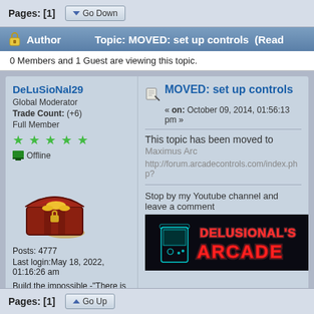Pages: [1]
Author  Topic: MOVED: set up controls  (Read
0 Members and 1 Guest are viewing this topic.
DeLuSioNal29
Global Moderator
Trade Count: (+6)
Full Member
Offline
Posts: 4777
Last login:May 18, 2022, 01:16:26 am
Build the impossible -"There is no Spoon"
MOVED: set up controls
« on: October 09, 2014, 01:56:13 pm »
This topic has been moved to Maximus Arc
http://forum.arcadecontrols.com/index.php?
Stop by my Youtube channel and leave a comment
[Figure (illustration): Arcade banner image showing 'DELUSIONAL'S ARCADE' text in red neon on dark background with arcade cabinet silhouette]
Pages: [1]